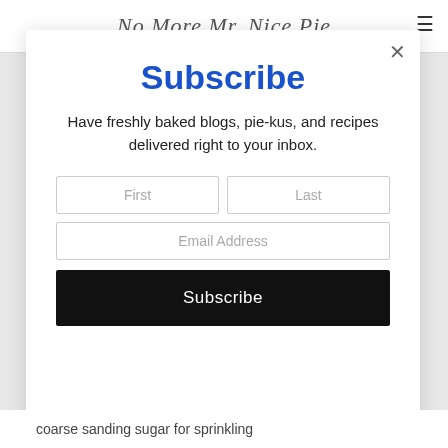No More Mr. Nice Pie
Subscribe
Have freshly baked blogs, pie-kus, and recipes delivered right to your inbox.
First
Last
Email Address
Subscribe
coarse sanding sugar for sprinkling